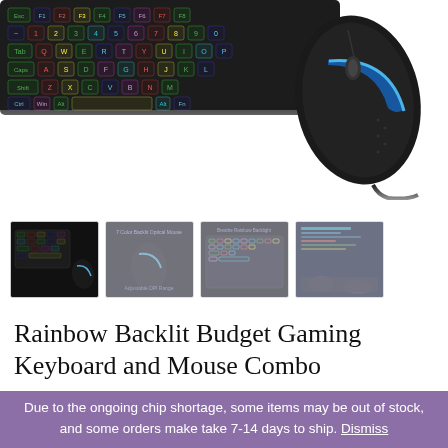[Figure (photo): Product photo showing a rainbow backlit gaming keyboard and a black gaming mouse with blue LED accent, partially cropped at top of page.]
[Figure (photo): Four product thumbnail images: 1) keyboard and mouse combo, 2) gaming mouse with RGB spec info, 3) keyboard close-up with rainbow backlight, 4) person using keyboard with blue screen.]
Rainbow Backlit Budget Gaming Keyboard and Mouse Combo
$49.99  $34.99
Due to the ongoing chip shortage, some items may be out of stock, and some orders make take 7-14 days to ship. Dismiss